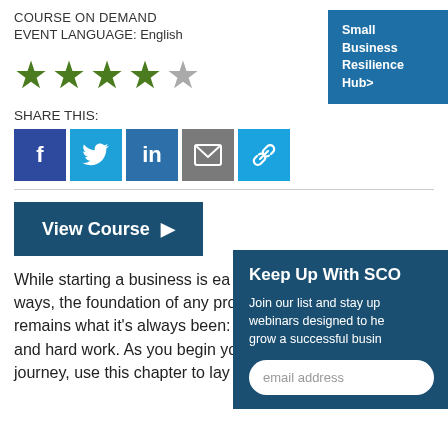COURSE ON DEMAND
EVENT LANGUAGE: English
[Figure (other): Small Business Resilience Hub blue button link]
[Figure (other): 4 out of 5 star rating — 4 filled green stars, 1 empty grey star]
SHARE THIS:
[Figure (other): Social sharing icon buttons: Facebook, Twitter, LinkedIn, Email, Copy Link]
[Figure (other): View Course button (dark blue)]
[Figure (other): Keep Up With SCORE overlay panel with email signup]
While starting a business is ea... ways, the foundation of any profitable business remains what it's always been: determination, drive and hard work. As you begin your entrepreneurial journey, use this chapter to lay the groundwork for